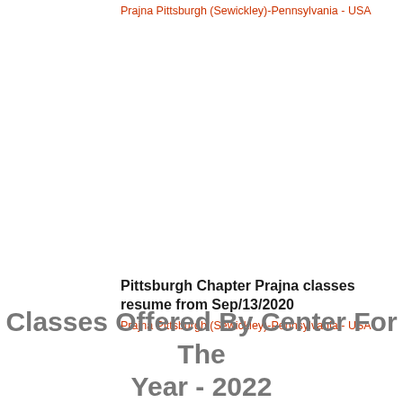Prajna Pittsburgh (Sewickley)-Pennsylvania - USA
Pittsburgh Chapter Prajna classes resume from Sep/13/2020
Prajna Pittsburgh (Sewickley)-Pennsylvania - USA
Classes Offered By Center For The Year - 2022